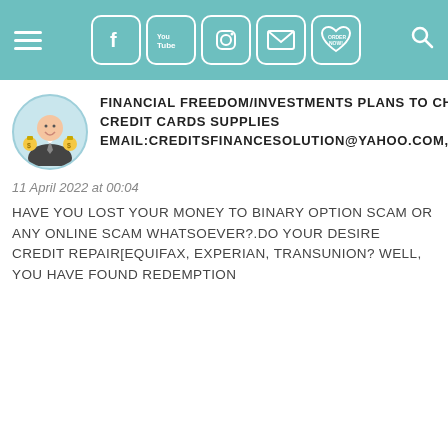[Figure (screenshot): Navigation bar with hamburger menu, social media icons (Facebook, YouTube, Instagram, Email, Order Now heart), and search icon on teal background]
[Figure (photo): Circular avatar photo of a man in a suit holding money bags, smiling]
FINANCIAL FREEDOM/INVESTMENTS PLANS TO CHANGE YOUR LIFE AND CREDIT CARDS SUPPLIES EMAIL:CREDITSFINANCESOLUTION@YAHOO.COM,WHATSAPP:+17205045511
11 April 2022 at 00:04
HAVE YOU LOST YOUR MONEY TO BINARY OPTION SCAM OR ANY ONLINE SCAM WHATSOEVER?.DO YOUR DESIRE CREDIT REPAIR[EQUIFAX, EXPERIAN, TRANSUNION? WELL, YOU HAVE FOUND REDEMPTION